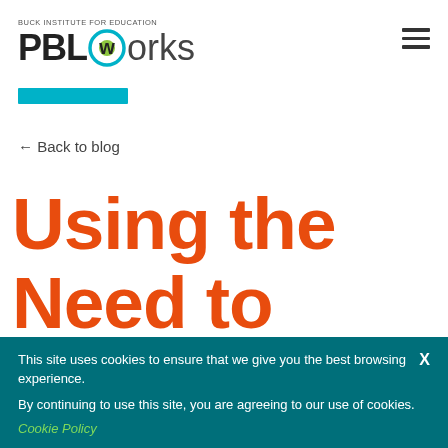BUCK INSTITUTE FOR EDUCATION PBLworks
Using the Need to Know List to
← Back to blog
This site uses cookies to ensure that we give you the best browsing experience. By continuing to use this site, you are agreeing to our use of cookies.
Cookie Policy